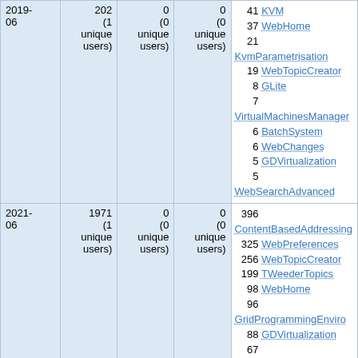| Date | Count | Col3 | Col4 | Top pages |
| --- | --- | --- | --- | --- |
| 2019-06 | 202 (1 unique users) | 0 (0 unique users) | 0 (0 unique users) | 41 KVM
37 WebHome
21 KvmParametrisation
19 WebTopicCreator
8 GLite
7 VirtualMachinesManager
6 BatchSystem
6 WebChanges
5 GDVirtualization
5 WebSearchAdvanced |
| 2021-06 | 1971 (1 unique users) | 0 (0 unique users) | 0 (0 unique users) | 396 ContentBasedAddressing
325 WebPreferences
256 WebTopicCreator
199 TWeederTopics
98 WebHome
96 GridProgrammingEnviro
88 GDVirtualization
67 VirtualMachinesManager
61 KVM
36 WebSearchAdvanced |
| 2014-10 | 197 | 0 | 0 | 48 KVM
45 WebHome |